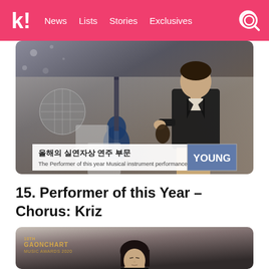k! News Lists Stories Exclusives
[Figure (photo): Man in black suit near guitar with Korean overlay text: 올해의 실연자상 연주 부문 / The Performer of this year Musical instrument performance | YOUNG]
15. Performer of this Year – Chorus: Kriz
[Figure (photo): Gaonchart Music Awards 2020 - person with black hair in black outfit looking upward, against gradient gray background]